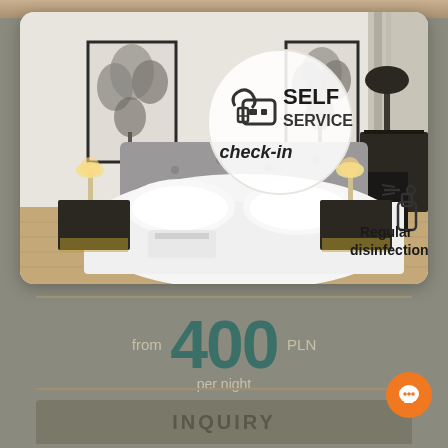[Figure (photo): Hotel bedroom photo with white bedding, framed botanical wall art, bedside lamps, and a desk with a chair. Overlaid with circular badge showing key icon and text 'SELF SERVICE check-in', and spray bottle icon with text 'Regular disinfection'.]
from 400 PLN per night
INQUIRY